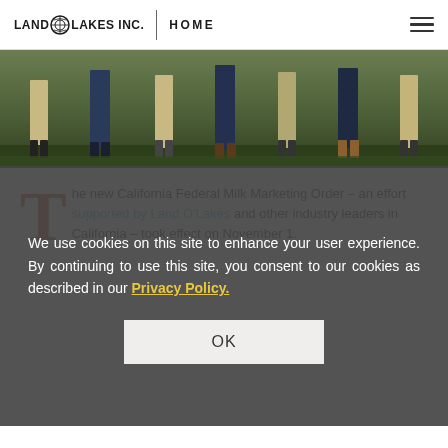LAND O'LAKES INC. | HOME
[Figure (photo): Cropped photo showing the lower half of a group of people standing outdoors on grass, showing legs and feet only.]
The new California Federal Milk Marketing Order – an effort supported by Land O'Lakes and other industry leaders in California – took effect on November 1.
We use cookies on this site to enhance your user experience. By continuing to use this site, you consent to our cookies as described in our Privacy Policy.
OK
On Nov